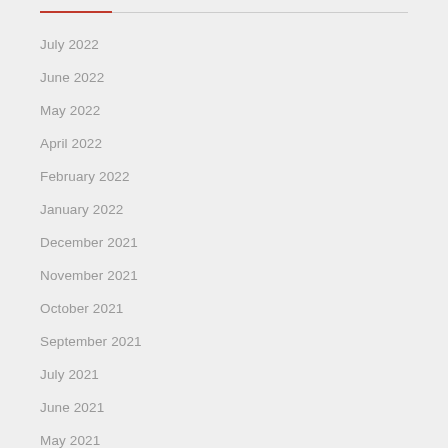July 2022
June 2022
May 2022
April 2022
February 2022
January 2022
December 2021
November 2021
October 2021
September 2021
July 2021
June 2021
May 2021